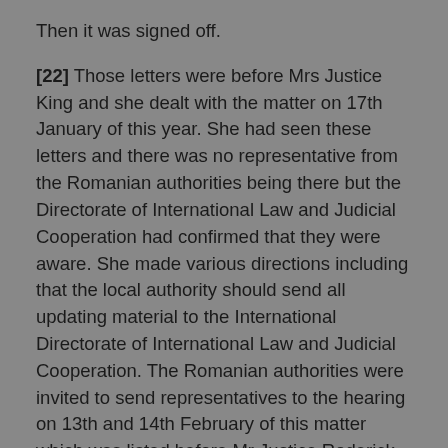Then it was signed off.
[22] Those letters were before Mrs Justice King and she dealt with the matter on 17th January of this year. She had seen these letters and there was no representative from the Romanian authorities being there but the Directorate of International Law and Judicial Cooperation had confirmed that they were aware. She made various directions including that the local authority should send all updating material to the International Directorate of International Law and Judicial Cooperation. The Romanian authorities were invited to send representatives to the hearing on 13th and 14th February of this matter which was listed before Mr Justice Roderick Wood when it was noted that the court would give consideration to making final determinations in their absence, but if they do intend to send such representations, they shall confirm the…